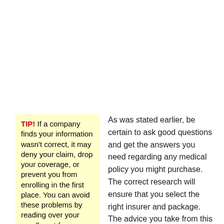TIP! If a company finds your information wasn't correct, it may deny your claim, drop your coverage, or prevent you from enrolling in the first place. You can avoid these problems by reading over your enrollment form.
As was stated earlier, be certain to ask good questions and get the answers you need regarding any medical policy you might purchase. The correct research will ensure that you select the right insurer and package. The advice you take from this article will assist you in making correct choices.